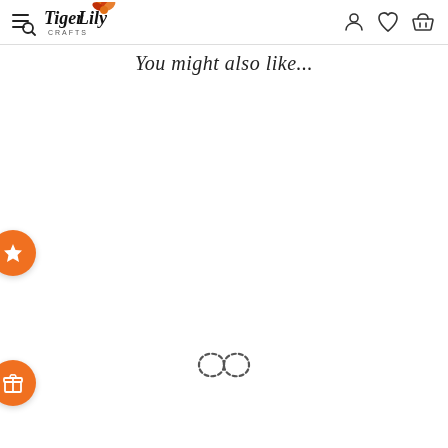TigerLily Crafts — navigation header with logo, hamburger/search, user, wishlist, and cart icons
You might also like...
[Figure (other): Orange circular button with white star icon, floating on left edge]
[Figure (other): Orange circular button with white gift/tag icon, floating on left edge]
[Figure (other): Dashed infinity symbol loading spinner centered on page]